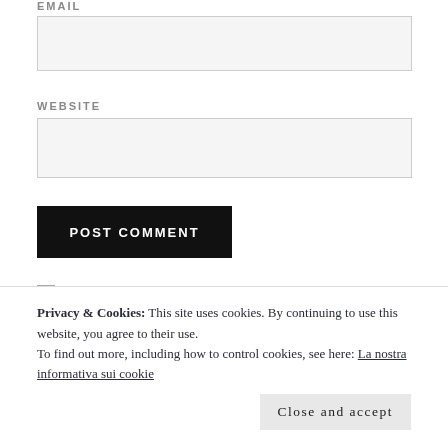EMAIL
WEBSITE
POST COMMENT
Notify me of new comments via email.
Privacy & Cookies: This site uses cookies. By continuing to use this website, you agree to their use. To find out more, including how to control cookies, see here: La nostra informativa sui cookie
Close and accept